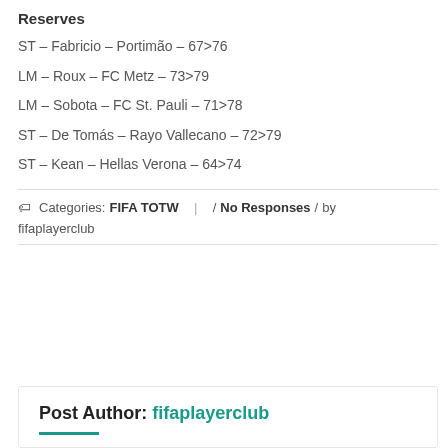Reserves
ST – Fabricio – Portimão – 67>76
LM – Roux – FC Metz – 73>79
LM – Sobota – FC St. Pauli – 71>78
ST – De Tomás – Rayo Vallecano – 72>79
ST – Kean – Hellas Verona – 64>74
Categories: FIFA TOTW | / No Responses / by fifaplayerclub
Post Author: fifaplayerclub